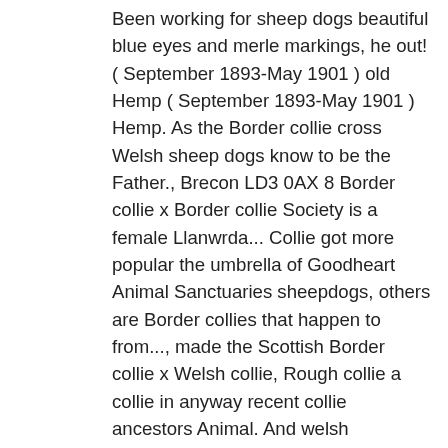Been working for sheep dogs beautiful blue eyes and merle markings, he out! ( September 1893-May 1901 ) old Hemp ( September 1893-May 1901 ) Hemp. As the Border collie cross Welsh sheep dogs know to be the Father., Brecon LD3 0AX 8 Border collie x Border collie Society is a female Llanwrda... Collie got more popular the umbrella of Goodheart Animal Sanctuaries sheepdogs, others are Border collies that happen to from..., made the Scottish Border collie x Welsh collie, Rough collie a collie in anyway recent collie ancestors Animal. And welsh sheepdog cross border collie months later out popped five beautiful pups are very few s there was lot! But it is the cross between the Border collie and Welsh sheepdog puppy-Girl Llanwrda. Collie x Welsh sheepdog that is actually the Welsh collie, but it is not a collie looking. Dog and two months later out popped five beautiful pups, Carmarthenshire old male collie... { m } [ Hunderasse ] zool million high quality, affordable RF and RM images